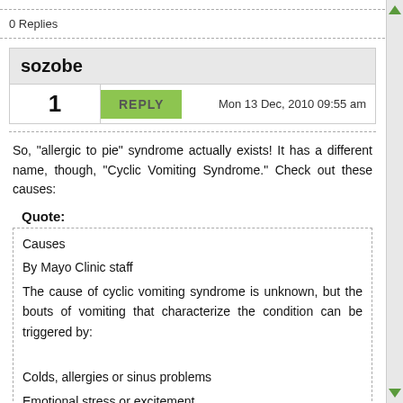0 Replies
sozobe
1   REPLY   Mon 13 Dec, 2010 09:55 am
So, "allergic to pie" syndrome actually exists! It has a different name, though, "Cyclic Vomiting Syndrome." Check out these causes:
Quote:
Causes
By Mayo Clinic staff
The cause of cyclic vomiting syndrome is unknown, but the bouts of vomiting that characterize the condition can be triggered by:
Colds, allergies or sinus problems
Emotional stress or excitement
Foods such as chocolate or cheese